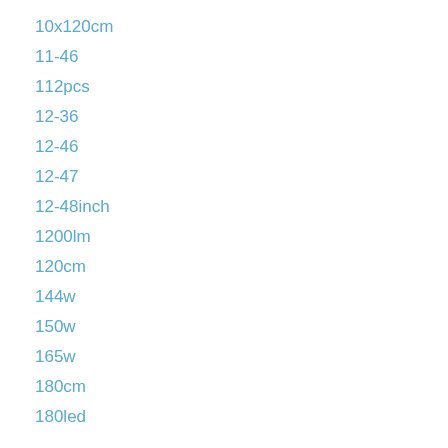10x120cm
11-46
112pcs
12-36
12-46
12-47
12-48inch
1200lm
120cm
144w
150w
165w
180cm
180led